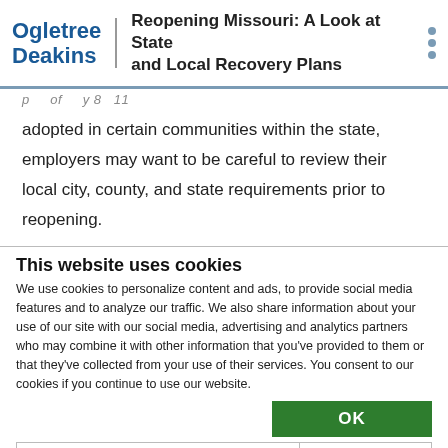Ogletree Deakins | Reopening Missouri: A Look at State and Local Recovery Plans
p of y 8 11
adopted in certain communities within the state, employers may want to be careful to review their local city, county, and state requirements prior to reopening.
This website uses cookies
We use cookies to personalize content and ads, to provide social media features and to analyze our traffic. We also share information about your use of our site with our social media, advertising and analytics partners who may combine it with other information that you've provided to them or that they've collected from your use of their services. You consent to our cookies if you continue to use our website.
OK
| Necessary | Preferences | Statistics | Show details |
| --- | --- | --- | --- |
| ✓ Necessary | ✓ Preferences | ✓ Statistics | Show details ∨ |
| ✓ Marketing |  |  |  |